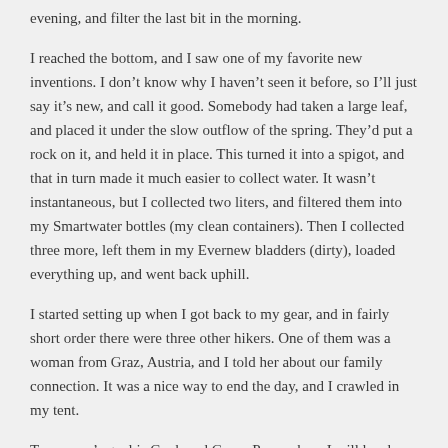evening, and filter the last bit in the morning.
I reached the bottom, and I saw one of my favorite new inventions. I don’t know why I haven’t seen it before, so I’ll just say it’s new, and call it good. Somebody had taken a large leaf, and placed it under the slow outflow of the spring. They’d put a rock on it, and held it in place. This turned it into a spigot, and that in turn made it much easier to collect water. It wasn’t instantaneous, but I collected two liters, and filtered them into my Smartwater bottles (my clean containers). Then I collected three more, left them in my Evernew bladders (dirty), loaded everything up, and went back uphill.
I started setting up when I got back to my gear, and in fairly short order there were three other hikers. One of them was a woman from Graz, Austria, and I told her about our family connection. It was a nice way to end the day, and I crawled in my tent.
Tomorrow’s goal is Cook and Green Pass, where I will head down the road.
Share Rest Step Hikes